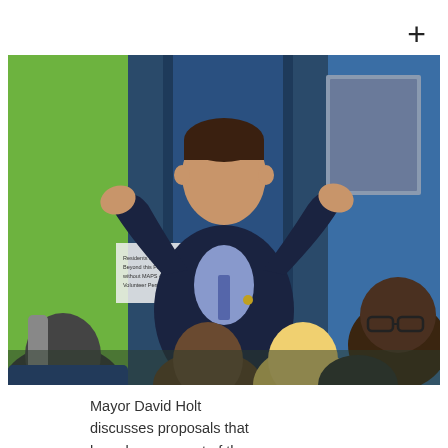[Figure (photo): Mayor David Holt standing and speaking with hands raised, addressing a group of seated community members in a colorful room with green and blue walls. A poster is visible on the wall behind him.]
Mayor David Holt discusses proposals that have become part of the MAPS 4 projects during a